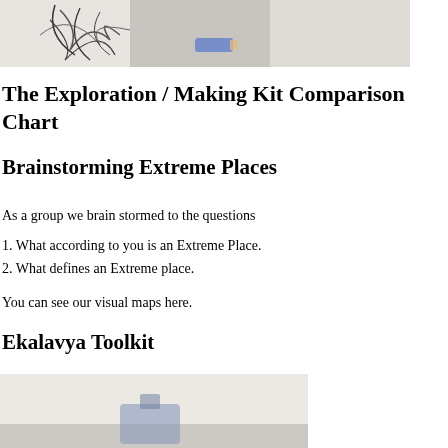[Figure (photo): Photo of a hand-drawn sketch on paper with pencils/erasers visible]
The Exploration / Making Kit Comparison Chart
Brainstorming Extreme Places
As a group we brain stormed to the questions
1. What according to you is an Extreme Place.
2. What defines an Extreme place.
You can see our visual maps here.
Ekalavya Toolkit
[Figure (photo): Photo of items on a light-colored surface, partially visible at bottom of page]